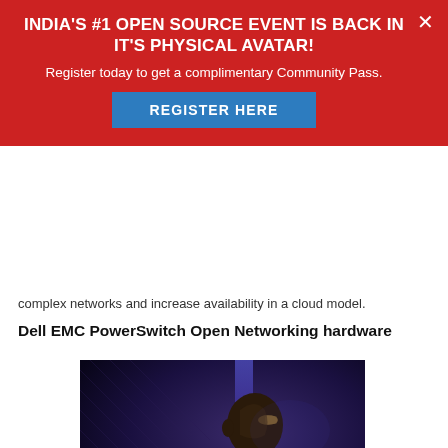complex networks and increase availability in a cloud model.
Dell EMC PowerSwitch Open Networking hardware
[Figure (photo): A person with glasses working at a computer in a dark blue-lit room, side profile view.]
INDIA'S #1 OPEN SOURCE EVENT IS BACK IN IT'S PHYSICAL AVATAR!
Register today to get a complimentary Community Pass.
REGISTER HERE